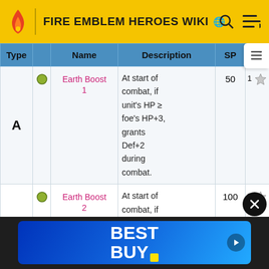FIRE EMBLEM HEROES WIKI
| Type |  | Name | Description | SP | Unlo… |
| --- | --- | --- | --- | --- | --- |
| A | ● | Earth Boost 1 | At start of combat, if unit's HP ≥ foe's HP+3, grants Def+2 during combat. | 50 | 1 ☆ |
|  | ● | Earth Boost 2 | At start of combat, if unit's HP ≥ foe's HP+3, | 100 | 2 ☆ |
[Figure (screenshot): Best Buy advertisement banner at the bottom of the page]